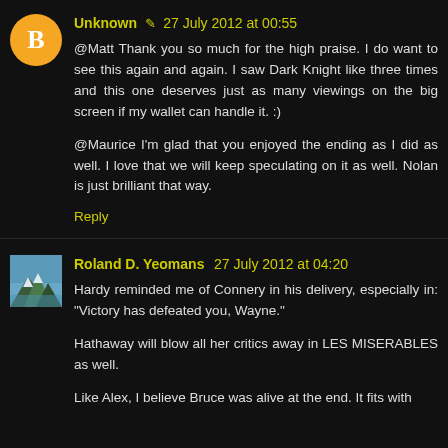Unknown ✎ 27 July 2012 at 00:55
@Matt Thank you so much for the high praise. I do want to see this again and again. I saw Dark Knight like three times and this one deserves just as many viewings on the big screen if my wallet can handle it. :)
@Maurice I'm glad that you enjoyed the ending as I did as well. I love that we will keep speculating on it as well. Nolan is just brilliant that way.
Reply
Roland D. Yeomans 27 July 2012 at 04:20
Hardy reminded me of Connery in his delivery, especially in: "Victory has defeated you, Wayne."
Hathaway will blow all her critics away in LES MISERABLES as well.
Like Alex, I believe Bruce was alive at the end. It fits with